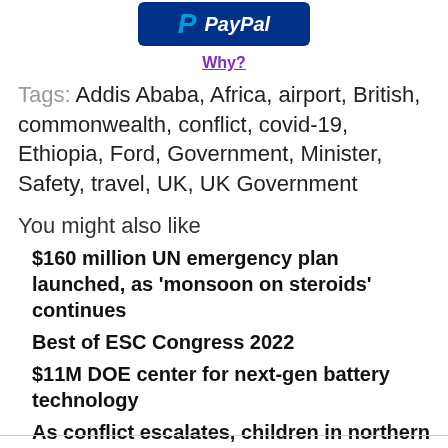[Figure (logo): PayPal logo button with dark blue background, stylized P in blue and 'PayPal' in white italic text]
Why?
Tags: Addis Ababa, Africa, airport, British, commonwealth, conflict, covid-19, Ethiopia, Ford, Government, Minister, Safety, travel, UK, UK Government
You might also like
$160 million UN emergency plan launched, as 'monsoon on steroids' continues
Best of ESC Congress 2022
$11M DOE center for next-gen battery technology
As conflict escalates, children in northern Ethiopia are victims